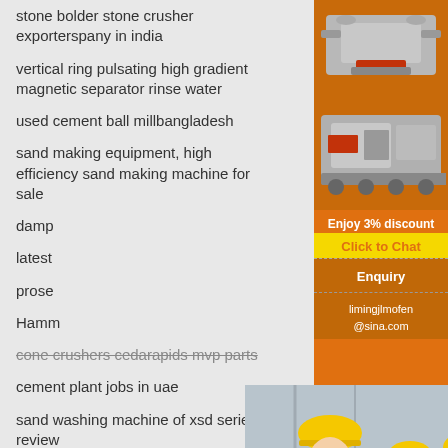stone bolder stone crusher exporterspany in india
vertical ring pulsating high gradient magnetic separator rinse water
used cement ball millbangladesh
sand making equipment, high efficiency sand making machine for sale
damp...
latest...
prose...
Hamm...
cone crushers cedarapids mvp parts
cement plant jobs in uae
sand washing machine of xsd series review
model of vertical shaft kiln
list of manufacturer stone crusher plant upto 5... in india
small used rock crushers for marble marble 3hp
[Figure (photo): Live chat popup with woman in hard hat and colleagues, LIVE CHAT text in red italic, 'Click for a Free Consultation' subtitle, Chat now (red) and Chat later (dark) buttons]
[Figure (photo): Right sidebar showing industrial crusher/mining machinery images on orange background, Enjoy 3% discount banner, Click to Chat yellow button, Enquiry section, limingjlmofen@sina.com email]